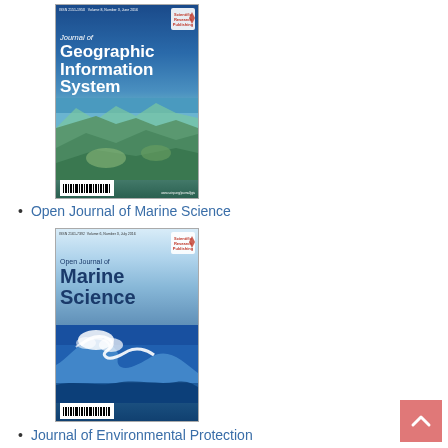[Figure (photo): Journal cover of 'Journal of Geographic Information System' showing a 3D satellite landscape view with blue sky, published by Scientific Research Publishing]
Open Journal of Marine Science
[Figure (photo): Journal cover of 'Open Journal of Marine Science' showing a large ocean wave, published by Scientific Research Publishing]
Journal of Environmental Protection